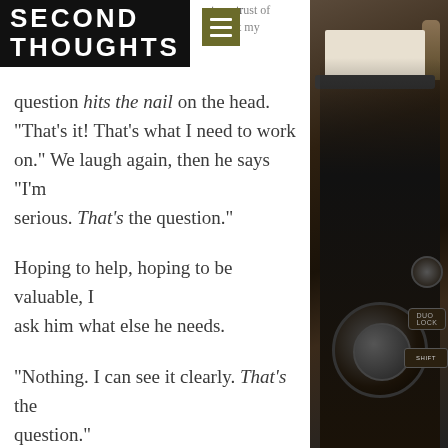SECOND THOUGHTS
question hits the nail on the head. “That’s it! That's what I need to work on.” We laugh again, then he says “I’m serious. That’s the question.”
Hoping to help, hoping to be valuable, I ask him what else he needs.
“Nothing. I can see it clearly. That’s the question.”
I can take a hint and suggest that he uses the rest of the time to be on his own to reflect (it never happens when he’s at work). And I leave him to it.
Over the next ten days, we check in a
[Figure (photo): Photograph of a vintage black typewriter on a dark wooden surface, viewed from the side/front angle.]